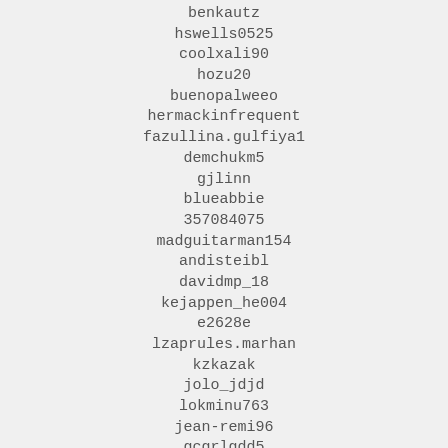benkautz
hswells0525
coolxali90
hozu20
buenopalweeo
hermackinfrequent
fazullina.gulfiya1
demchukm5
gjlinn
blueabbie
357084075
madguitarman154
andisteibl
davidmp_18
kejappen_he004
e2628e
lzaprules.marhan
kzkazak
jolo_jdjd
lokminu763
jean-remi96
gcgrlgdd5
fredlinda4
jkino25